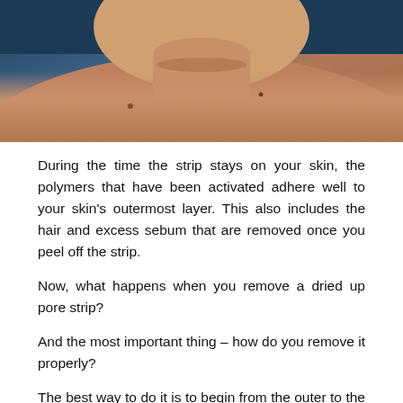[Figure (photo): Close-up photo of a person's chin and neck area against a dark blue background, showing skin texture with visible moles.]
During the time the strip stays on your skin, the polymers that have been activated adhere well to your skin's outermost layer. This also includes the hair and excess sebum that are removed once you peel off the strip.
Now, what happens when you remove a dried up pore strip?
And the most important thing – how do you remove it properly?
The best way to do it is to begin from the outer to the inner flanks. Be as slow and gentle as possible as peeling it too fast will end up hurting you. As you peel it off your skin, you will notice those dead skin cells sticking to the